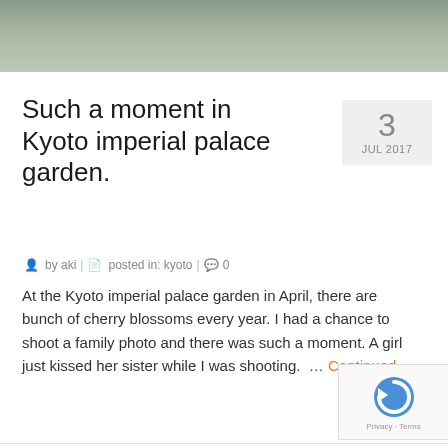[Figure (photo): Partial photo strip at top of page showing people, possibly at a garden event, cropped at top]
Such a moment in Kyoto imperial palace garden.
by aki | posted in: kyoto | 0
At the Kyoto imperial palace garden in April, there are bunch of cherry blossoms every year. I had a chance to shoot a family photo and there was such a moment. A girl just kissed her sister while I was shooting. … Continued